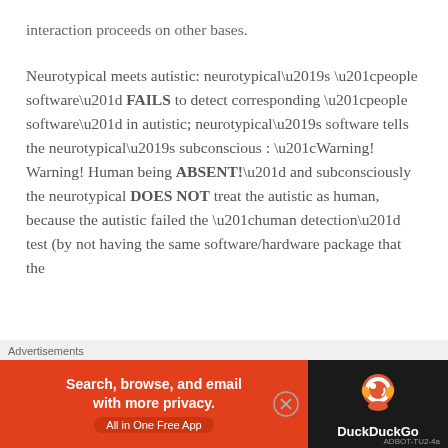interaction proceeds on other bases.
Neurotypical meets autistic: neurotypical’s “people software” FAILS to detect corresponding “people software” in autistic; neurotypical’s software tells the neurotypical’s subconscious : “Warning! Warning! Human being ABSENT!” and subconsciously the neurotypical DOES NOT treat the autistic as human, because the autistic failed the “human detection” test (by not having the same software/hardware package that the
[Figure (other): DuckDuckGo advertisement banner: orange background with text 'Search, browse, and email with more privacy. All in One Free App' and DuckDuckGo logo on dark background]